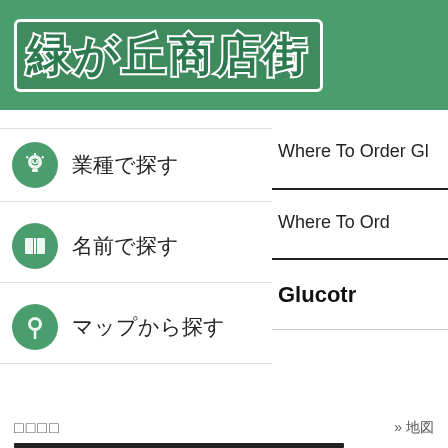[Figure (logo): Green header banner with Japanese text logo '緑が丘商店街' in dark green with white outline on green background]
業種で探す
Where To Order Gl
名前で探す
Where To Ord
マップから探す
Glucotr
□□□□
» 地図